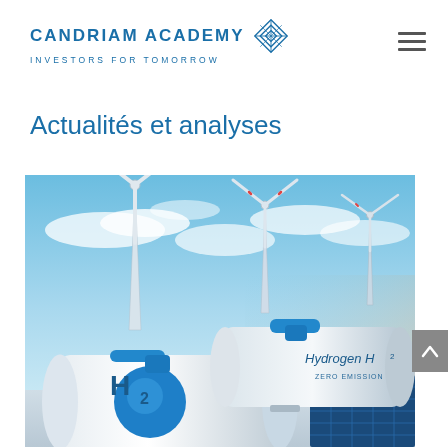CANDRIAM ACADEMY INVESTORS FOR TOMORROW
Actualités et analyses
[Figure (photo): 3D rendering of white hydrogen storage tanks labeled H2 and Hydrogen H2 / ZERO EMISSION, with wind turbines in the background against a blue sky, and solar panels visible to the right.]